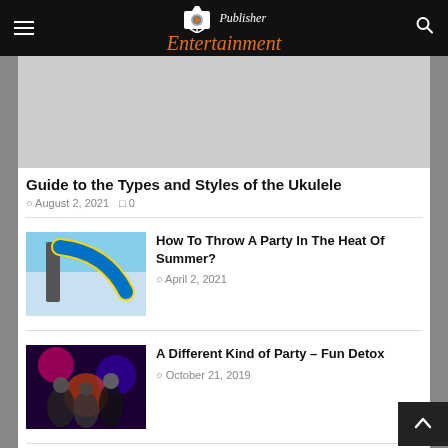Publisher Entertainment
[Figure (photo): Gray placeholder image for article about ukulele types]
Guide to the Types and Styles of the Ukulele
August 2, 2021  0
[Figure (photo): Waterslide at an amusement park, blue and yellow slides against sky]
How To Throw A Party In The Heat Of Summer?
April 2, 2021
[Figure (photo): Three women at a party with colorful lights]
A Different Kind of Party – Fun Detox
October 21, 2019
[Figure (photo): Magician in tuxedo with magic hat]
Find Killer Magic Skills in Easy Steps
October 10, 2019